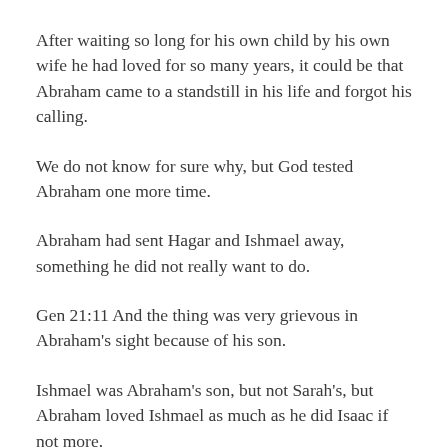After waiting so long for his own child by his own wife he had loved for so many years, it could be that Abraham came to a standstill in his life and forgot his calling.
We do not know for sure why, but God tested Abraham one more time.
Abraham had sent Hagar and Ishmael away, something he did not really want to do.
Gen 21:11 And the thing was very grievous in Abraham's sight because of his son.
Ishmael was Abraham's son, but not Sarah's, but Abraham loved Ishmael as much as he did Isaac if not more.